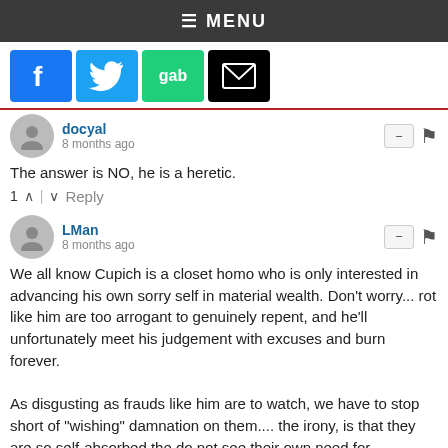≡ MENU
[Figure (screenshot): Social media sharing buttons: Facebook (blue), Twitter (blue), Gab (green), Email/mail (black)]
docyal
8 months ago
The answer is NO, he is a heretic.
1 ^ | v Reply
LMan
8 months ago
We all know Cupich is a closet homo who is only interested in advancing his own sorry self in material wealth. Don't worry... rot like him are too arrogant to genuinely repent, and he'll unfortunately meet his judgement with excuses and burn forever.

As disgusting as frauds like him are to watch, we have to stop short of "wishing" damnation on them.... the irony, is that they are so self-absorbed the do not see their own need for repentance, and seal their own fate.
2 ^ | v Reply